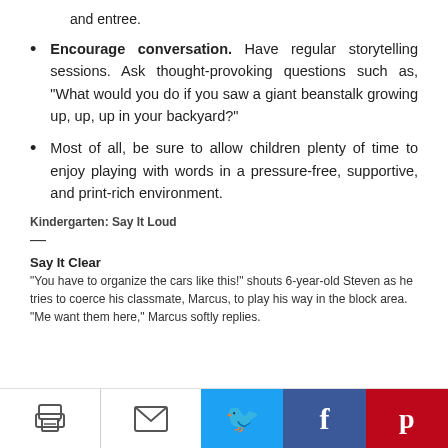and entree.
Encourage conversation. Have regular storytelling sessions. Ask thought-provoking questions such as, "What would you do if you saw a giant beanstalk growing up, up, up in your backyard?"
Most of all, be sure to allow children plenty of time to enjoy playing with words in a pressure-free, supportive, and print-rich environment.
Kindergarten: Say It Loud
—
Say It Clear
"You have to organize the cars like this!" shouts 6-year-old Steven as he tries to coerce his classmate, Marcus, to play his way in the block area. "Me want them here," Marcus softly replies.